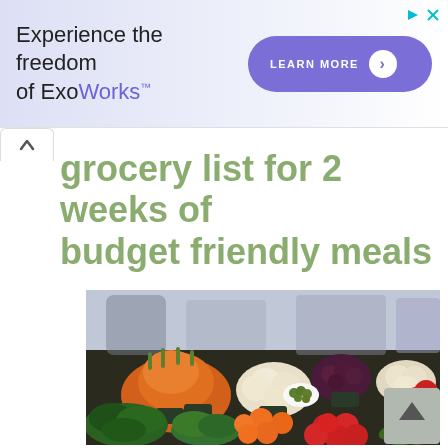[Figure (other): Advertisement banner for ExoWorks with purple gradient background. Text: 'Experience the freedom of ExoWorks™' with a purple 'LEARN MORE' button on the right.]
grocery list for 2 weeks of budget friendly meals
[Figure (photo): A colorful outdoor market stall displaying a large variety of fresh vegetables and fruits including carrots, onions, tomatoes, oranges, cucumbers, red peppers, dark cherries, and leafy herbs, with small price tags visible.]